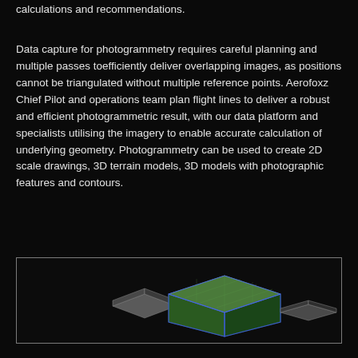calculations and recommendations.
Data capture for photogrammetry requires careful planning and multiple passes toefficiently deliver overlapping images, as positions cannot be triangulated without multiple reference points. Aerofoxz Chief Pilot and operations team plan flight lines to deliver a robust and efficient photogrammetric result, with our data platform and specialists utilising the imagery to enable accurate calculation of underlying geometry. Photogrammetry can be used to create 2D scale drawings, 3D terrain models, 3D models with photographic features and contours.
[Figure (illustration): A bordered dark box showing three 3D terrain/photogrammetry model illustrations at different scales: a small flat grey terrain model on the left, a larger raised rectangular model with green aerial/satellite imagery texture in the center, and a small grey terrain model on the right.]